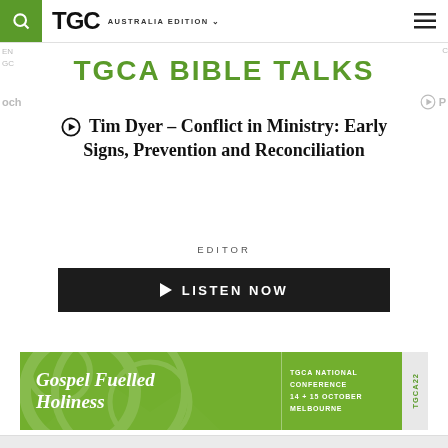TGC AUSTRALIA EDITION
TGCA BIBLE TALKS
Tim Dyer – Conflict in Ministry: Early Signs, Prevention and Reconciliation
EDITOR
LISTEN NOW
[Figure (infographic): Gospel Fuelled Holiness banner. TGCA National Conference 14 + 15 October Melbourne. TGCA22 pill on right.]